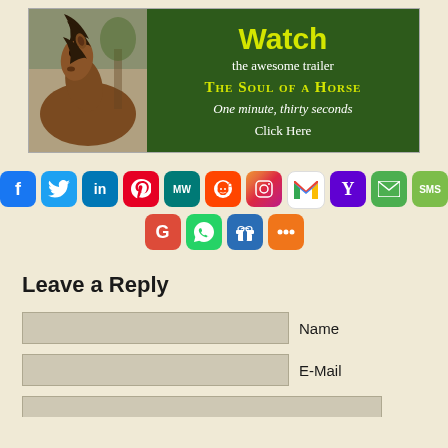[Figure (infographic): Banner ad showing a horse photo on the left and green background with text on the right. Text reads: Watch the awesome trailer THE SOUL OF A HORSE One minute, thirty seconds Click Here]
[Figure (infographic): Social media sharing icons row 1: Facebook (blue), Twitter (blue), LinkedIn (blue), Pinterest (red), MeWe (teal), Reddit (orange-red), Instagram (gradient purple), Gmail (red/white M), Yahoo (purple Y), Email (green envelope), SMS (green). Row 2: Google (red G), WhatsApp (green), Gift (blue), Share (orange).]
Leave a Reply
Name
E-Mail